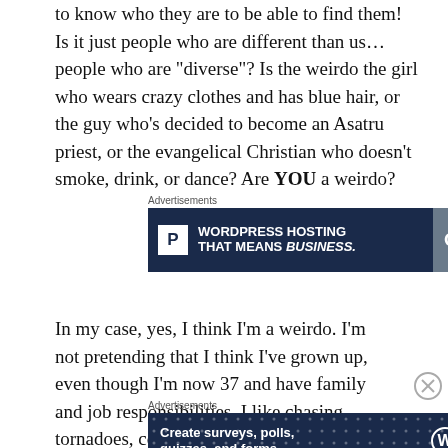to know who they are to be able to find them! Is it just people who are different than us... people who are "diverse"? Is the weirdo the girl who wears crazy clothes and has blue hair, or the guy who's decided to become an Asatru priest, or the evangelical Christian who doesn't smoke, drink, or dance? Are YOU a weirdo?
Advertisements
[Figure (screenshot): Advertisement banner for WordPress hosting with dark navy background, white P logo box, text 'WORDPRESS HOSTING THAT MEANS BUSINESS.' and an OPEN sign photo on the right]
In my case, yes, I think I'm a weirdo. I'm not pretending that I think I've grown up, even though I'm now 37 and have family and job responsibilities. I like chasing tornadoes, collecting hot springs, and playing with poi...
Advertisements
[Figure (screenshot): Advertisement banner for survey/forms creation tool with dark navy background and dotted pattern, text 'Create surveys, polls, quizzes, and forms.' with WordPress and survey icons on right]